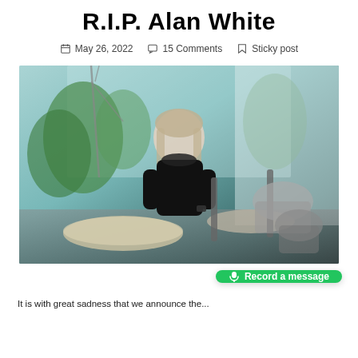R.I.P. Alan White
May 26, 2022  15 Comments  Sticky post
[Figure (photo): Alan White seated at a drum kit in a studio with large glass windows. He is wearing a black t-shirt and headphones around his neck, smiling at the camera. Various cymbals and drum hardware visible in foreground and background.]
Record a message
It is with great sadness that we announce the...